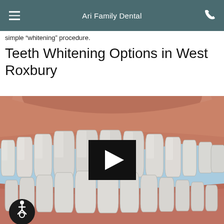Ari Family Dental
simple “whitening” procedure.
Teeth Whitening Options in West Roxbury
[Figure (illustration): 3D dental illustration showing a close-up of upper and lower teeth with gums, on a light blue background, with a black video play button overlay in the center. An accessibility icon is shown at the bottom left.]